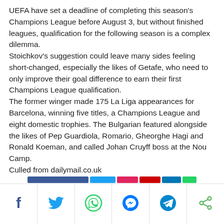UEFA have set a deadline of completing this season's Champions League before August 3, but without finished leagues, qualification for the following season is a complex dilemma.
Stoichkov's suggestion could leave many sides feeling short-changed, especially the likes of Getafe, who need to only improve their goal difference to earn their first Champions League qualification.
The former winger made 175 La Liga appearances for Barcelona, winning five titles, a Champions League and eight domestic trophies. The Bulgarian featured alongside the likes of Pep Guardiola, Romario, Gheorghe Hagi and Ronald Koeman, and called Johan Cruyff boss at the Nou Camp.
Culled from dailymail.co.uk
[Figure (infographic): Social media share bar with icons for Facebook, Twitter, WhatsApp, Messenger, Telegram, and a generic share icon]